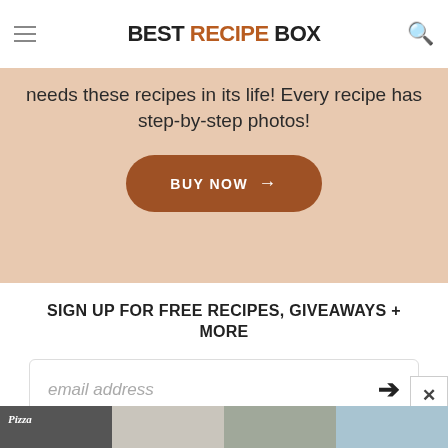BEST RECIPE BOX
needs these recipes in its life! Every recipe has step-by-step photos!
BUY NOW →
SIGN UP FOR FREE RECIPES, GIVEAWAYS + MORE
email address
[Figure (photo): Four food thumbnail images at the bottom: pizza, salad, bottles, wrap]